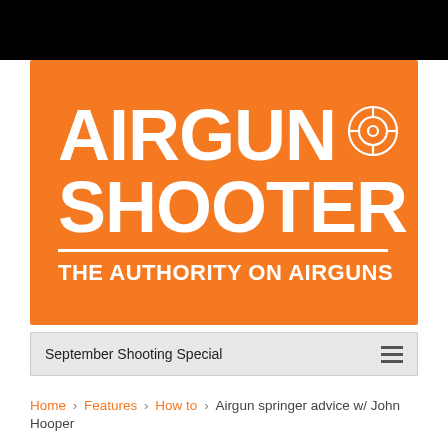[Figure (logo): Airgun Shooter magazine logo on orange background with tagline 'THE AUTHORITY ON AIRGUNS' and a target/crosshair icon]
September Shooting Special
Home › Features › How to › Airgun springer advice w/ John Hooper